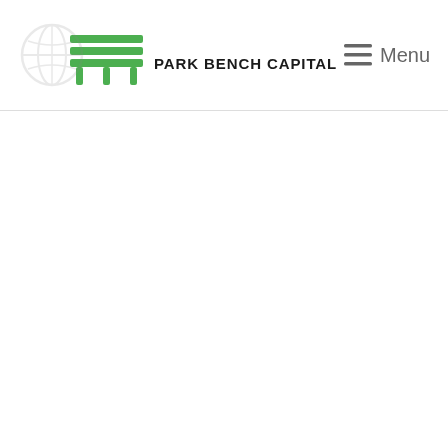Park Bench Capital — Menu
[Figure (logo): Park Bench Capital logo with bench icon and faint globe watermark, accompanied by Menu navigation button on the right]